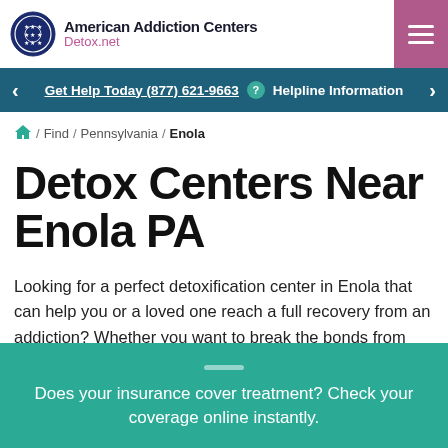American Addiction Centers Detox.net
Get Help Today (877) 621-9663  Helpline Information
/ Find / Pennsylvania / Enola
Detox Centers Near Enola PA
Looking for a perfect detoxification center in Enola that can help you or a loved one reach a full recovery from an addiction? Whether you want to break the bonds from Avinza, Tramadol, alcohol or another substance you are addicted to, your path to recovery does not
Does your insurance cover treatment? Check your coverage online instantly.